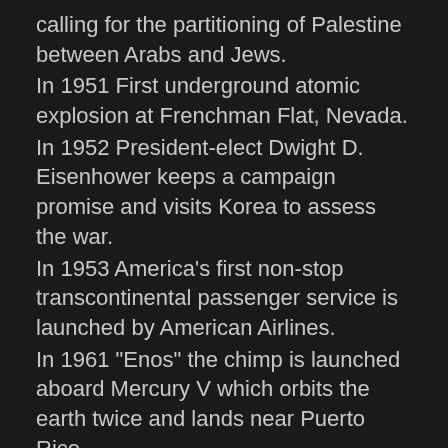calling for the partitioning of Palestine between Arabs and Jews.
In 1951 First underground atomic explosion at Frenchman Flat, Nevada.
In 1952 President-elect Dwight D. Eisenhower keeps a campaign promise and visits Korea to assess the war.
In 1953 America's first non-stop transcontinental passenger service is launched by American Airlines.
In 1961 "Enos" the chimp is launched aboard Mercury V which orbits the earth twice and lands near Puerto Rico.
In 1963 President Lyndon Johnson names a commission headed by Chief Justice Earl Warren to investigate the assassination of President Kennedy.
In 1964 The Roman Catholic Church in the U.S. institutes sweeping changes in the liturgy, including the use of English instead of Latin.
In 1967 Secretary of Defense Robert S. McNamara announces he would leave the Johnson administration to become president of the World Bank.